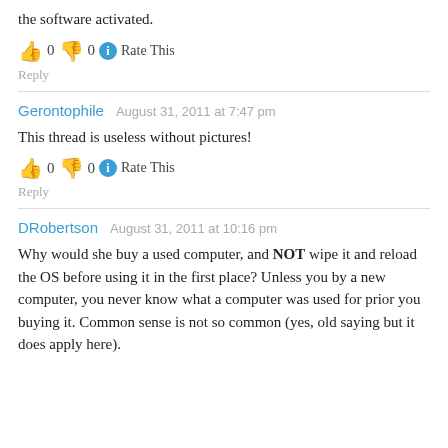the software activated.
👍 0 👎 0 ℹ Rate This
Reply
Gerontophile   August 31, 2011 at 7:47 pm
This thread is useless without pictures!
👍 0 👎 0 ℹ Rate This
Reply
DRobertson   August 31, 2011 at 10:16 pm
Why would she buy a used computer, and NOT wipe it and reload the OS before using it in the first place? Unless you by a new computer, you never know what a computer was used for prior you buying it. Common sense is not so common (yes, old saying but it does apply here).